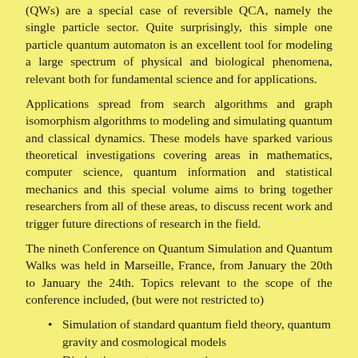(QWs) are a special case of reversible QCA, namely the single particle sector. Quite surprisingly, this simple one particle quantum automaton is an excellent tool for modeling a large spectrum of physical and biological phenomena, relevant both for fundamental science and for applications.
Applications spread from search algorithms and graph isomorphism algorithms to modeling and simulating quantum and classical dynamics. These models have sparked various theoretical investigations covering areas in mathematics, computer science, quantum information and statistical mechanics and this special volume aims to bring together researchers from all of these areas, to discuss recent work and trigger future directions of research in the field.
The nineth Conference on Quantum Simulation and Quantum Walks was held in Marseille, France, from January the 20th to January the 24th. Topics relevant to the scope of the conference included, (but were not restricted to)
Simulation of standard quantum field theory, quantum gravity and cosmological models
Dissipative quantum computing
Quantum Cellular Automata Theory
Quantum Algorithms and Quantum Machine Learning